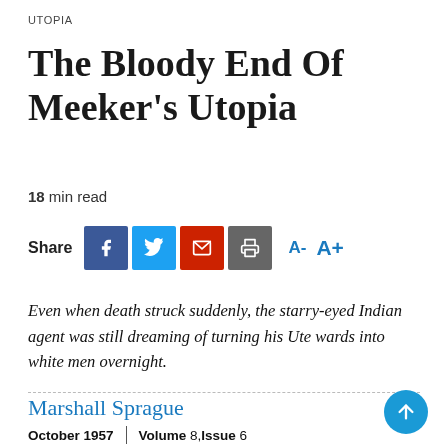UTOPIA
The Bloody End Of Meeker's Utopia
18 min read
[Figure (infographic): Social share buttons row: Share label, Facebook (blue), Twitter (light blue), Email (red), Print (gray), and font size controls A- A+]
Even when death struck suddenly, the starry-eyed Indian agent was still dreaming of turning his Ute wards into white men overnight.
Marshall Sprague
October 1957  |  Volume 8, Issue 6